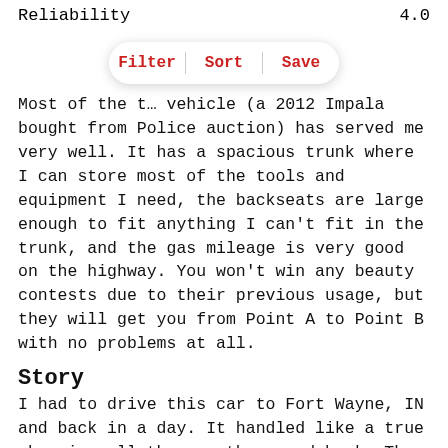Reliability    4.0
Most of the t... vehicle (a 2012 Impala bought from Police auction) has served me very well. It has a spacious trunk where I can store most of the tools and equipment I need, the backseats are large enough to fit anything I can't fit in the trunk, and the gas mileage is very good on the highway. You won't win any beauty contests due to their previous usage, but they will get you from Point A to Point B with no problems at all.
Story
I had to drive this car to Fort Wayne, IN and back in a day. It handled like a true champion all the way there and back. The motor never gave issue, I never felt drowsy, the cruise control made my life easy, and it was a dream.
Pros
[Figure (other): Gray placeholder box at the bottom of the page]